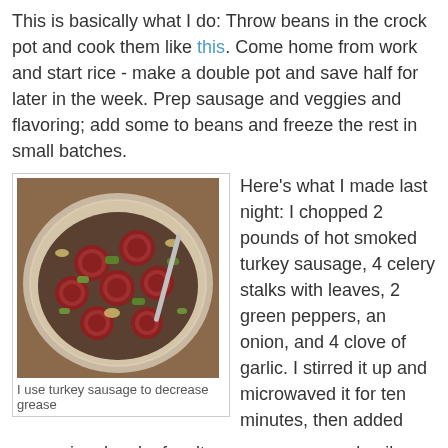This is basically what I do: Throw beans in the crock pot and cook them like this. Come home from work and start rice - make a double pot and save half for later in the week. Prep sausage and veggies and flavoring; add some to beans and freeze the rest in small batches.
[Figure (photo): A bowl of turkey sausage with chopped green peppers, celery, and onions]
I use turkey sausage to decrease grease
Here's what I made last night: I chopped 2 pounds of hot smoked turkey sausage, 4 celery stalks with leaves, 2 green peppers, an onion, and 4 clove of garlic. I stirred it up and microwaved it for ten minutes, then added seasoning: bay leaf, salt, pepper, oregano, basil, Tabasco, and some Tony's. I stirred it and microwaved it for another 6 minutes. I divided it up into 5 batches, so I can get 4 more meals out of this. Yet I only had to do the work once. The next time I make beans, I just defrost the sausage mix in the